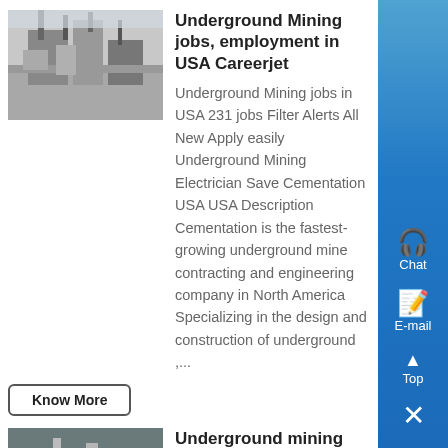[Figure (photo): Industrial mining structure/building exterior, gray sky]
Underground Mining jobs, employment in USA Careerjet
Underground Mining jobs in USA 231 jobs Filter Alerts All New Apply easily Underground Mining Electrician Save Cementation USA USA Description Cementation is the fastest-growing underground mine contracting and engineering company in North America Specializing in the design and construction of underground ,...
Know More
[Figure (photo): Underground mining interior, pipes and equipment]
Underground mining Jobs in United States Glassdoor
Search Underground mining jobs in United States with company ratings